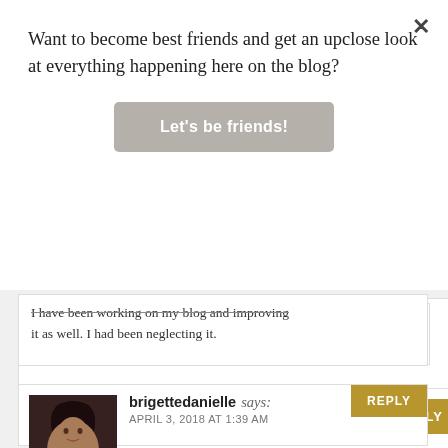Want to become best friends and get an upclose look at everything happening here on the blog?
Let's be friends!
I have been working on my blog and improving it as well. I had been neglecting it.
REPLY
brigettedanielle says:
APRIL 3, 2018 AT 1:39 AM
These are awesome! I have been telling myself to keep a praise journal but I have been putting it off. WEll I just got a new journal for a birthday present so I guess God is telling me to do it lol!